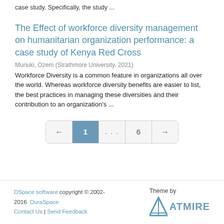case study. Specifically, the study ...
The Effect of workforce diversity management on humanitarian organization performance: a case study of Kenya Red Cross
Muriuki, Ozem (Strathmore University, 2021)
Workforce Diversity is a common feature in organizations all over the world. Whereas workforce diversity benefits are easier to list, the best practices in managing these diversities and their contribution to an organization's ...
DSpace software copyright © 2002-2016  DuraSpace
Contact Us | Send Feedback
Theme by ATMIRE